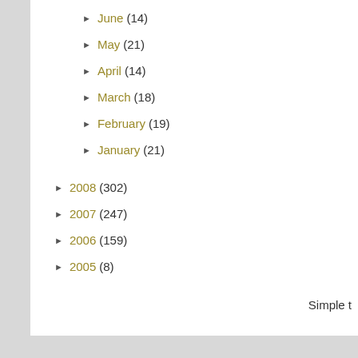► June (14)
► May (21)
► April (14)
► March (18)
► February (19)
► January (21)
► 2008 (302)
► 2007 (247)
► 2006 (159)
► 2005 (8)
Simple t